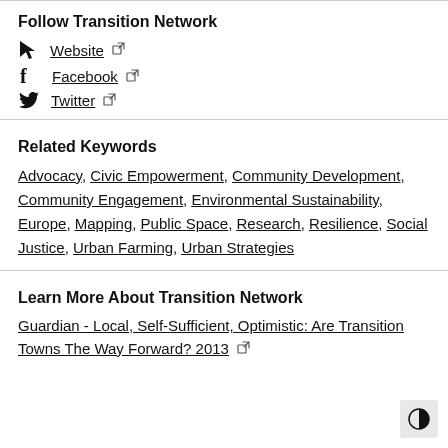Follow Transition Network
Website
Facebook
Twitter
Related Keywords
Advocacy, Civic Empowerment, Community Development, Community Engagement, Environmental Sustainability, Europe, Mapping, Public Space, Research, Resilience, Social Justice, Urban Farming, Urban Strategies
Learn More About Transition Network
Guardian - Local, Self-Sufficient, Optimistic: Are Transition Towns The Way Forward? 2013